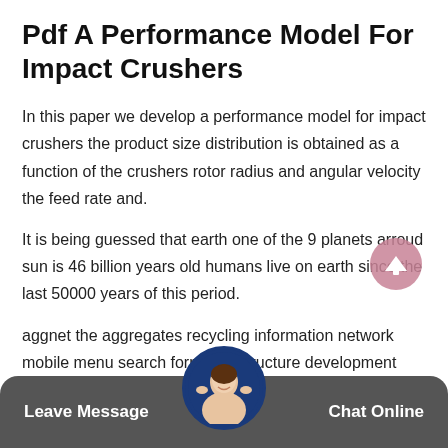Pdf A Performance Model For Impact Crushers
In this paper we develop a performance model for impact crushers the product size distribution is obtained as a function of the crushers rotor radius and angular velocity the feed rate and.
It is being guessed that earth one of the 9 planets arroud sun is 46 billion years old humans live on earth since the last 50000 years of this period.
aggnet the aggregates recycling information network mobile menu search form infrastructure development company euro takes delivery of 10000th
Leave Message   Chat Online